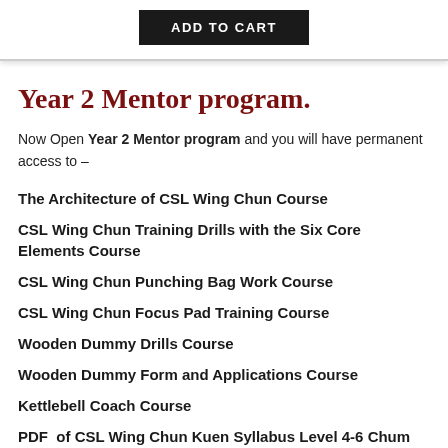[Figure (other): ADD TO CART button in black rectangle at the top of the page]
Year 2 Mentor program.
Now Open Year 2 Mentor program and you will have permanent access to –
The Architecture of CSL Wing Chun Course
CSL Wing Chun Training Drills with the Six Core Elements Course
CSL Wing Chun Punching Bag Work Course
CSL Wing Chun Focus Pad Training Course
Wooden Dummy Drills Course
Wooden Dummy Form and Applications Course
Kettlebell Coach Course
PDF  of CSL Wing Chun Kuen Syllabus Level 4-6 Chum Kiu
PDF of CSL Muk Yan Jong 116 Wooden Dummy Form